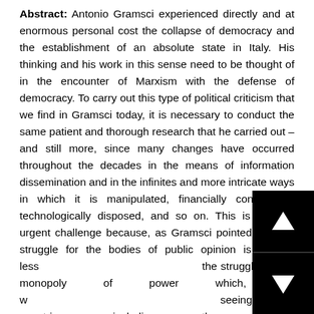Abstract: Antonio Gramsci experienced directly and at enormous personal cost the collapse of democracy and the establishment of an absolute state in Italy. His thinking and his work in this sense need to be thought of in the encounter of Marxism with the defense of democracy. To carry out this type of political criticism that we find in Gramsci today, it is necessary to conduct the same patient and thorough research that he carried out – and still more, since many changes have occurred throughout the decades in the means of information dissemination and in the infinites and more intricate ways in which it is manipulated, financially conditioned, technologically disposed, and so on. This is a more urgent challenge because, as Gramsci pointed out, the struggle for the bodies of public opinion is nothing less than the struggle for the monopoly of power which, as we are seeing in many countries, including the United States, threatens today the democracy itself.